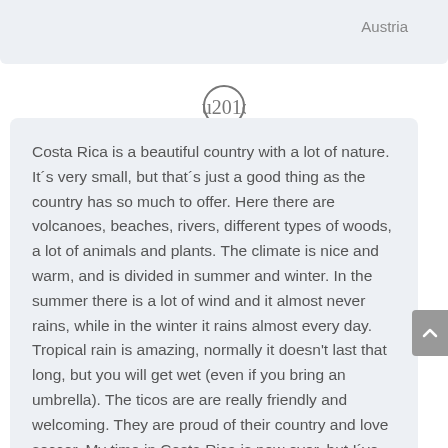Austria
[Figure (illustration): Closing double quotation mark icon inside a circle]
Costa Rica is a beautiful country with a lot of nature. It´s very small, but that´s just a good thing as the country has so much to offer. Here there are volcanoes, beaches, rivers, different types of woods, a lot of animals and plants. The climate is nice and warm, and is divided in summer and winter. In the summer there is a lot of wind and it almost never rains, while in the winter it rains almost every day. Tropical rain is amazing, normally it doesn't last that long, but you will get wet (even if you bring an umbrella). The ticos are are really friendly and welcoming. They are proud of their country and love soccer. My time in Costa Rica is now over, but I´ve had